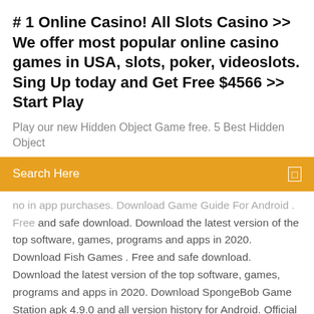# 1 Online Casino! All Slots Casino >> We offer most popular online casino games in USA, slots, poker, videoslots. Sing Up today and Get Free $4566 >> Start Play
Play our new Hidden Object Game free.  5 Best Hidden Object
Search Here
no in app purchases. Download Game Guide For Android . Free and safe download. Download the latest version of the top software, games, programs and apps in 2020. Download Fish Games . Free and safe download. Download the latest version of the top software, games, programs and apps in 2020. Download SpongeBob Game Station apk 4.9.0 and all version history for Android. Official Nickelodeon Game w/ match-3 Puzzle, RUN & SIM/SNG game in Bikini Bottom Try what it is like to play in the online casino with the GameTwist casino app. This new game genuinely Top 6 Online Casinos list 2017! Reviews of